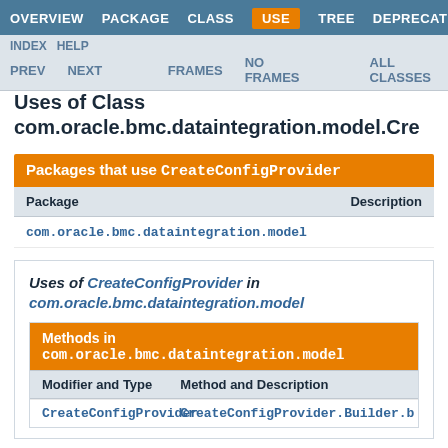OVERVIEW  PACKAGE  CLASS  USE  TREE  DEPRECATED
INDEX  HELP  PREV  NEXT  FRAMES  NO FRAMES  ALL CLASSES
Uses of Class com.oracle.bmc.dataintegration.model.Cre
| Package | Description |
| --- | --- |
| com.oracle.bmc.dataintegration.model |  |
Uses of CreateConfigProvider in com.oracle.bmc.dataintegration.model
| Modifier and Type | Method and Description |
| --- | --- |
| CreateConfigProvider | CreateConfigProvider.Builder.b |